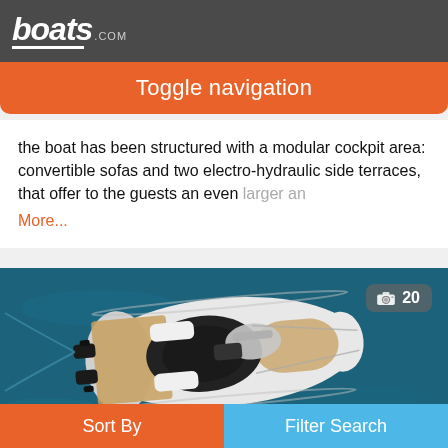boats.com
Toggle navigation
the boat has been structured with a modular cockpit area: convertible sofas and two electro-hydraulic side terraces, that offer to the guests an even larger an
More...
[Figure (photo): Aerial top-down view of a luxury motor yacht on dark blue water, showing the deck layout with seating areas, a cockpit, and bow section. A photo count badge shows '20' in the top right corner.]
Sort By
Filter Search